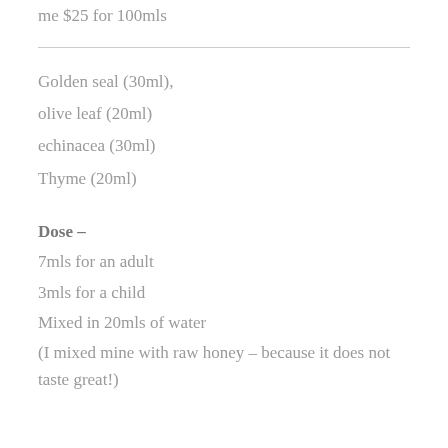me $25 for 100mls
Golden seal (30ml),
olive leaf (20ml)
echinacea (30ml)
Thyme (20ml)
Dose –
7mls for an adult
3mls for a child
Mixed in 20mls of water
(I mixed mine with raw honey – because it does not taste great!)